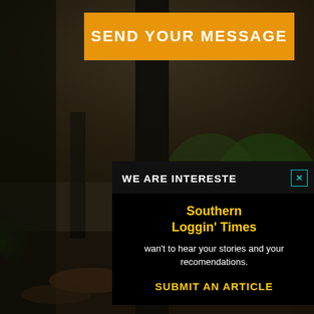[Figure (photo): Dark outdoor background scene with trees, sky, and a vertical wooden post structure in the center]
SEND YOUR MESSAGE
WE ARE INTERESTED
Southern Loggin' Times wan't to hear your stories and your recomendations.
SUBMIT AN ARTICLE